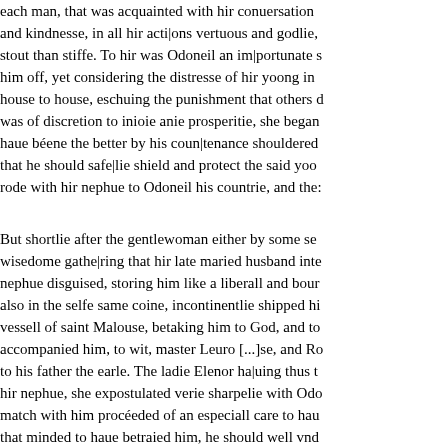each man, that was acquainted with hir conuersation and kindnesse, in all hir actions vertuous and godlie, stout than stiffe. To hir was Odoneil an importunate s him off, yet considering the distresse of hir yoong in house to house, eschuing the punishment that others d was of discretion to inioie anie prosperitie, she began haue béene the better by his countenance shouldered that he should safelie shield and protect the said yoo rode with hir nephue to Odoneil his countrie, and the
But shortlie after the gentlewoman either by some se wisedome gathering that hir late maried husband inte nephue disguised, storing him like a liberall and bou also in the selfe same coine, incontinentlie shipped h vessell of saint Malouse, betaking him to God, and t accompanied him, to wit, master Leuro [...]se, and R to his father the earle. The ladie Elenor hauing thus hir nephue, she expostulated verie sharpelie with Od match with him procéeded of an especiall care to ha that minded to haue betraied him, he should well vnd such a clownish curmudgen: so the assurance of his s of all matters, he would be, &c.